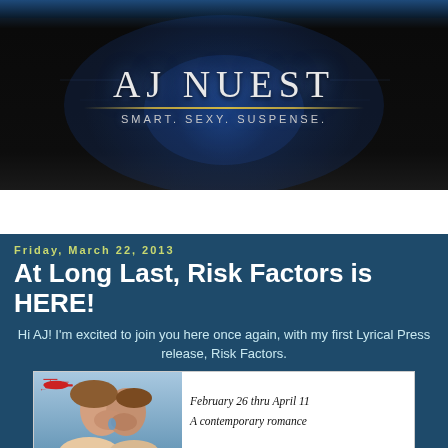[Figure (illustration): AJ Nuest website header banner with dark background, blue glowing digital texture/circuit pattern, large text 'AJ NUEST' and tagline 'Smart. Sexy. Suspense.' with a gold decorative line]
AJ's Blog ▼
Friday, March 22, 2013
At Long Last, Risk Factors is HERE!
Hi AJ! I'm excited to join you here once again, with my first Lyrical Press release, Risk Factors.
[Figure (illustration): Book promotion card with couple image on left (two people about to kiss) with a red helicopter in upper corner, and text on right: 'February 26 thru April 11' and 'A contemporary romance']